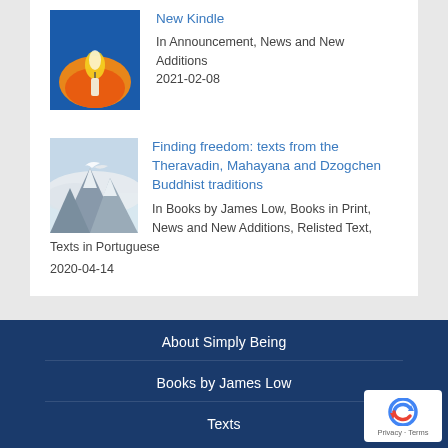[Figure (illustration): Book cover with flame/candle on orange background]
New Kindle
In Announcement, News and New Additions
2021-02-08
[Figure (photo): Snowy mountain landscape with bird/dove in clouds]
Finding freedom: texts from the Theravadin, Mahayana and Dzogchen Buddhist traditions
In Books by James Low, Books in Print, News and New Additions, Relisted Text, Texts in Portuguese
2020-04-14
About Simply Being
Books by James Low
Texts